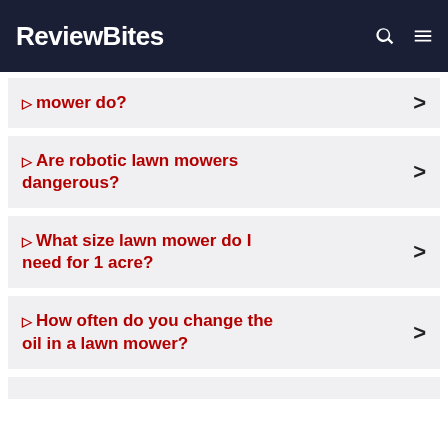ReviewBites
🔖 mower do?
🔖 Are robotic lawn mowers dangerous?
🔖 What size lawn mower do I need for 1 acre?
🔖 How often do you change the oil in a lawn mower?